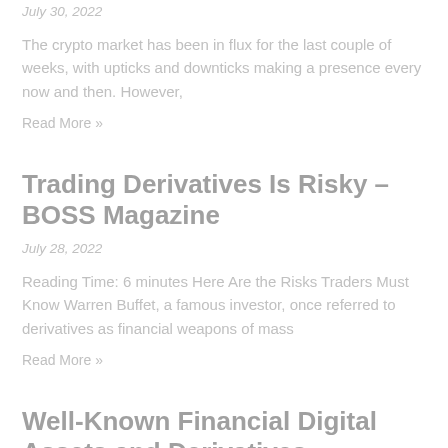July 30, 2022
The crypto market has been in flux for the last couple of weeks, with upticks and downticks making a presence every now and then. However,
Read More »
Trading Derivatives Is Risky – BOSS Magazine
July 28, 2022
Reading Time: 6 minutes Here Are the Risks Traders Must Know Warren Buffet, a famous investor, once referred to derivatives as financial weapons of mass
Read More »
Well-Known Financial Digital Assets and Derivatives